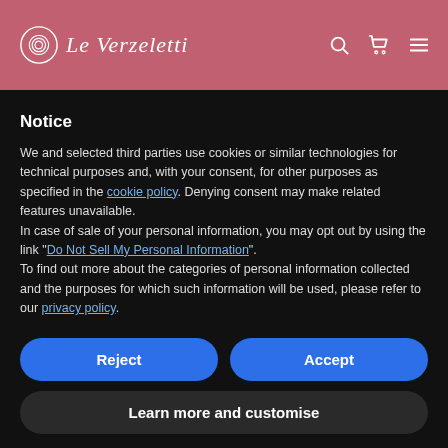Le Verzeletti — logo and navigation with search, cart, and menu icons
Notice
We and selected third parties use cookies or similar technologies for technical purposes and, with your consent, for other purposes as specified in the cookie policy. Denying consent may make related features unavailable.
In case of sale of your personal information, you may opt out by using the link "Do Not Sell My Personal Information".
To find out more about the categories of personal information collected and the purposes for which such information will be used, please refer to our privacy policy.
Reject
Accept
Learn more and customise